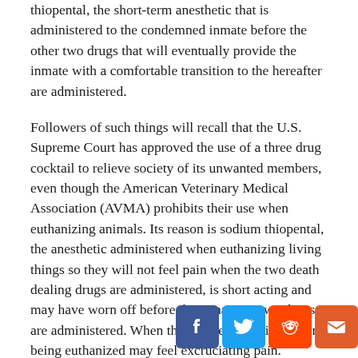thiopental, the short-term anesthetic that is administered to the condemned inmate before the other two drugs that will eventually provide the inmate with a comfortable transition to the hereafter are administered.
Followers of such things will recall that the U.S. Supreme Court has approved the use of a three drug cocktail to relieve society of its unwanted members, even though the American Veterinary Medical Association (AVMA) prohibits their use when euthanizing animals. Its reason is sodium thiopental, the anesthetic administered when euthanizing living things so they will not feel pain when the two death dealing drugs are administered, is short acting and may have worn off before the remaining two drugs are administered. When that happens the living thing being euthanized may feel excruciating pain.
Unlike the American Veterinary Medical Association, the U.S. Supreme Court is not all that concerned with